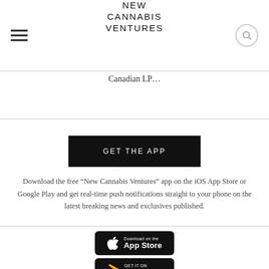NEW CANNABIS VENTURES
Canadian LP...
GET THE APP
Download the free “New Cannabis Ventures” app on the iOS App Store or Google Play and get real-time push notifications straight to your phone on the latest breaking news and exclusives published.
[Figure (logo): Download on the App Store badge]
[Figure (logo): Get it on Google Play badge (partially visible)]